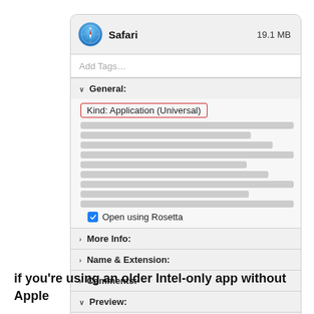[Figure (screenshot): macOS Get Info panel for Safari app showing Kind: Application (Universal) highlighted with red border, Open using Rosetta checkbox checked, and collapsed sections for More Info, Name & Extension, Comments, Preview, and Sharing & Permissions. App size shown as 19.1 MB.]
if you're using an older Intel-only app without Apple